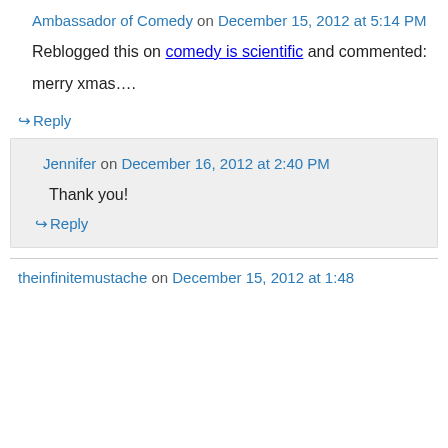Ambassador of Comedy on December 15, 2012 at 5:14 PM
Reblogged this on comedy is scientific and commented:
merry xmas….
↳ Reply
Jennifer on December 16, 2012 at 2:40 PM
Thank you!
↳ Reply
theinfinitemustache on December 15, 2012 at 1:48